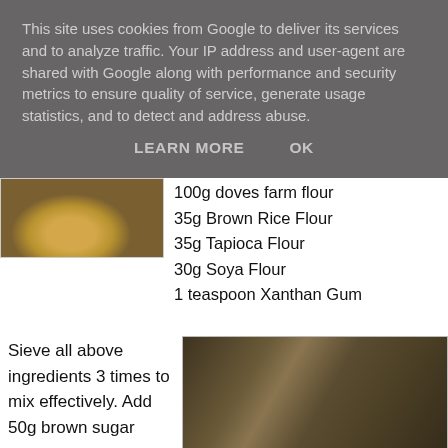This site uses cookies from Google to deliver its services and to analyze traffic. Your IP address and user-agent are shared with Google along with performance and security metrics to ensure quality of service, generate usage statistics, and to detect and address abuse.
LEARN MORE    OK
[Figure (photo): Photo of flour containers/bowls from above]
100g doves farm flour
35g Brown Rice Flour
35g Tapioca Flour
30g Soya Flour
1 teaspoon Xanthan Gum
Sieve all above ingredients 3 times to mix effectively. Add 50g brown sugar
[Figure (photo): Photo of mixed dry ingredients in a bowl]